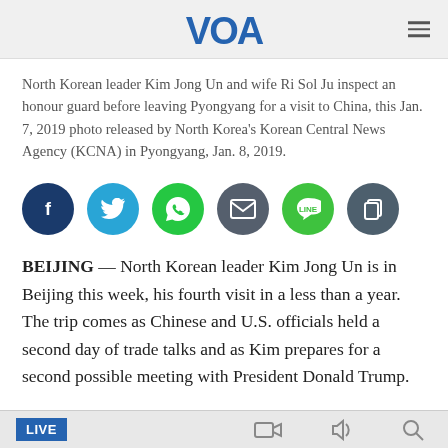VOA
North Korean leader Kim Jong Un and wife Ri Sol Ju inspect an honour guard before leaving Pyongyang for a visit to China, this Jan. 7, 2019 photo released by North Korea's Korean Central News Agency (KCNA) in Pyongyang, Jan. 8, 2019.
[Figure (infographic): Social sharing icons: Facebook (dark navy circle), Twitter (blue circle), WhatsApp (green circle), Email (dark grey circle), LINE (green circle), Copy (dark grey circle)]
BEIJING — North Korean leader Kim Jong Un is in Beijing this week, his fourth visit in a less than a year. The trip comes as Chinese and U.S. officials held a second day of trade talks and as Kim prepares for a second possible meeting with President Donald Trump.
LIVE